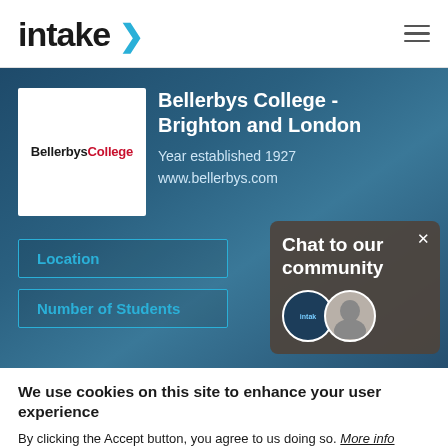intake
[Figure (logo): BellerbysCollege logo — white box with black 'Bellerbys' and red 'College' text]
Bellerbys College - Brighton and London
Year established 1927
www.bellerbys.com
Location
Number of Students
[Figure (illustration): Chat to our community widget with two avatar photos and close X button]
We use cookies on this site to enhance your user experience
By clicking the Accept button, you agree to us doing so. More info